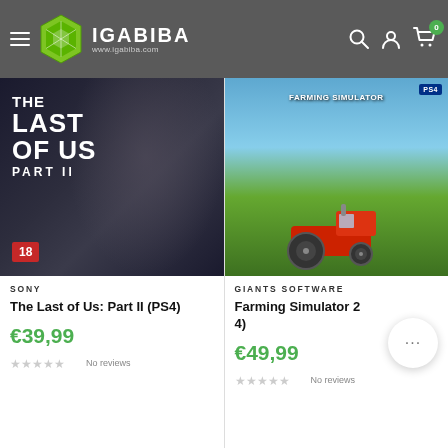IGABIBA www.igabiba.com
[Figure (photo): The Last of Us: Part II (PS4) game cover — dark moody cover with close-up face, white text title, age rating 18 in red]
SONY
The Last of Us: Part II (PS4)
€39,99
No reviews
[Figure (photo): Farming Simulator game cover — countryside scene with tractor, green hills, blue sky, PS4 platform logo]
GIANTS SOFTWARE
Farming Simulator 2 4)
€49,99
No reviews